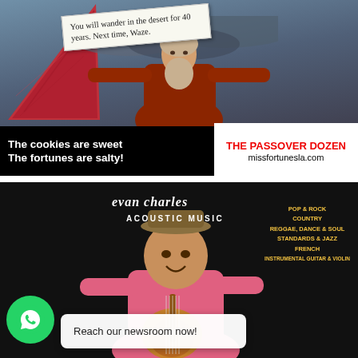[Figure (photo): Top advertisement image: A bearded Moses-like figure with arms outstretched against dramatic cloudy sky, with a red fortune cookie on the left and a fortune slip reading 'You will wander in the desert for 40 years. Next time, Waze.' Below is a black bar with white bold text 'The cookies are sweet The fortunes are salty!' and a white panel with red text 'THE PASSOVER DOZEN' and black text 'missfortunesla.com']
[Figure (photo): Bottom advertisement for Evan Charles Acoustic Music on black background, showing a smiling man in pink shirt holding a guitar. Text lists genres: POP & ROCK, COUNTRY, REGGAE, DANCE & SOUL, STANDARDS & JAZZ, FRENCH, INSTRUMENTAL GUITAR & VIOLIN. A WhatsApp green circle icon and a white popup bubble say 'Reach our newsroom now!']